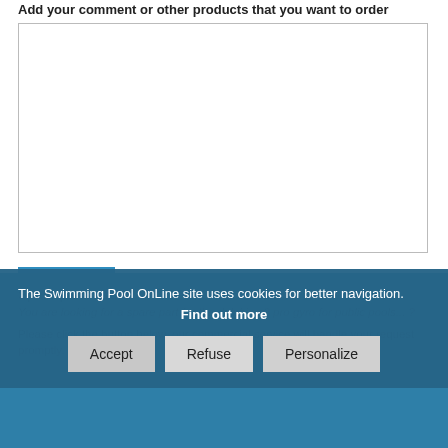Add your comment or other products that you want to order
[Figure (screenshot): Large empty textarea input box for user comment/order]
[Figure (screenshot): Blue 'Send' button]
Yes, I accept promotional offers from Swimming-Pool-OnLine.com
Spare parts order
You are looking for a spare part for the dolphin s2 pro gyro for public pools...
Please click the button below, our commercial service will handle your request promptly.
The Swimming Pool OnLine site uses cookies for better navigation.
Find out more
[Figure (screenshot): Cookie consent buttons: Accept, Refuse, Personalize]